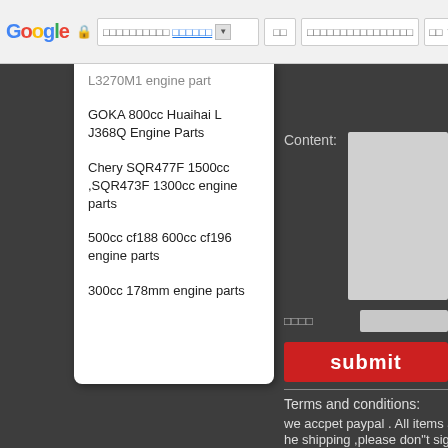[Figure (screenshot): Browser chrome bar with Google logo, lock icon, URL bar with Chinese text, navigation buttons, search bar, and close button]
L3270M1 engine part
GOKA 800cc Huaihai L J368Q Engine Parts
Chery SQR477F 1500cc ,SQR473F 1300cc engine parts
500cc cf188 600cc cf196 engine parts
300cc 178mm engine parts
Content:
submit
Terms and conditions:
we accpet paypal . All items are sold
he shipping ,please don"t sign the r
shipping carrier. All goods due to qu